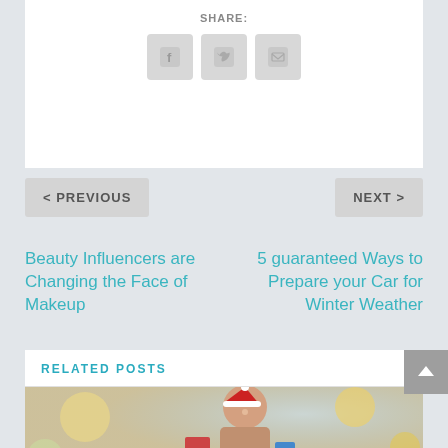SHARE:
[Figure (illustration): Three social share icons: Facebook (f), Twitter (bird), Email (envelope) on gray square buttons]
< PREVIOUS
NEXT >
Beauty Influencers are Changing the Face of Makeup
5 guaranteed Ways to Prepare your Car for Winter Weather
RELATED POSTS
[Figure (photo): Woman wearing a Santa hat, laughing, holding shopping bags, with a blurred bokeh background, holiday shopping theme]